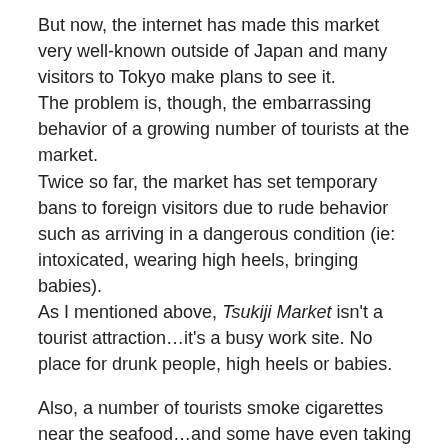But now, the internet has made this market very well-known outside of Japan and many visitors to Tokyo make plans to see it.
The problem is, though, the embarrassing behavior of a growing number of tourists at the market.
Twice so far, the market has set temporary bans to foreign visitors due to rude behavior such as arriving in a dangerous condition (ie: intoxicated, wearing high heels, bringing babies).
As I mentioned above, Tsukiji Market isn't a tourist attraction…it's a busy work site. No place for drunk people, high heels or babies.
Also, a number of tourists smoke cigarettes near the seafood…and some have even taking liberties such handling the fish.